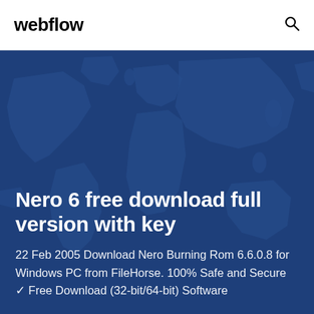webflow
[Figure (illustration): Dark blue world map background illustration used as hero banner background]
Nero 6 free download full version with key
22 Feb 2005 Download Nero Burning Rom 6.6.0.8 for Windows PC from FileHorse. 100% Safe and Secure ✓ Free Download (32-bit/64-bit) Software